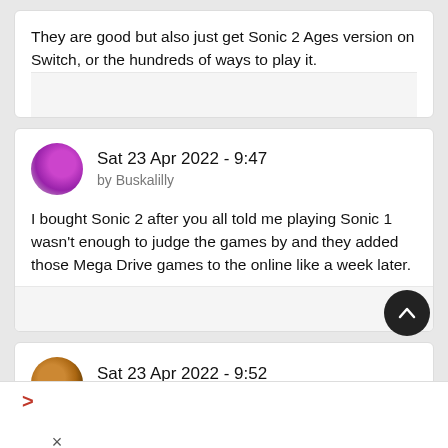They are good but also just get Sonic 2 Ages version on Switch, or the hundreds of ways to play it.
Sat 23 Apr 2022 - 9:47
by Buskalilly
I bought Sonic 2 after you all told me playing Sonic 1 wasn't enough to judge the games by and they added those Mega Drive games to the online like a week later.
Sat 23 Apr 2022 - 9:52
by masofdas
Exactly ways to play these games for the most part on PS, Xbox